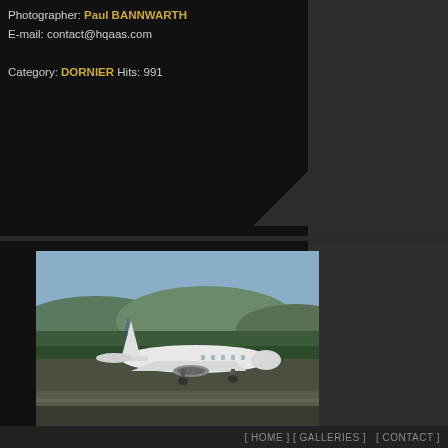Photographer: Paul BANNWARTH
E-mail: contact@hqaas.com

Category: DORNIER  Hits: 991
[Figure (photo): Photograph of a KLM Cityhopper Fokker F50 aircraft on a runway at Basel/Mulhouse-EuroAirport, taxiing or landing, with trees and mountains in background.]
25836
Airline: KLM CITYHOPPER
Aircraft type: FOKKER F50
c/n: 20233
Registration: PH-JXK
Airport: Basel/Mulhouse-EuroAirport(BSL)
Date: 09/05/1998
Remarks: Slide scan.
[ HOME ] [ GALLERIES ]  [ CONTACT ]